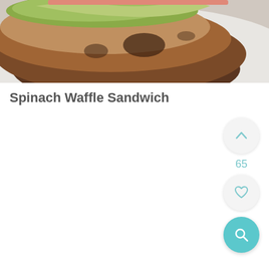[Figure (photo): Close-up photo of a spinach waffle sandwich with avocado spread on a toasted bun, served on a white plate]
Spinach Waffle Sandwich
[Figure (infographic): UI control buttons: upvote chevron button (light gray circle), vote count '65' in teal, heart/favorite button (light gray circle), and search magnifier button (teal circle)]